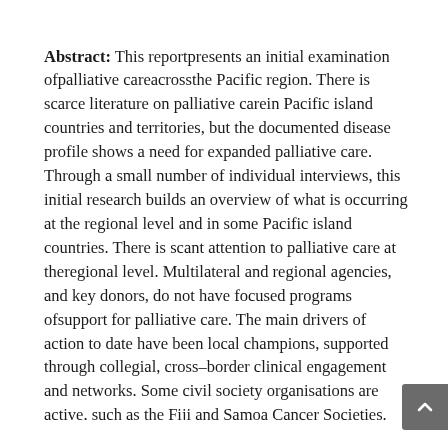Abstract: This reportpresents an initial examination ofpalliative careacrossthe Pacific region. There is scarce literature on palliative carein Pacific island countries and territories, but the documented disease profile shows a need for expanded palliative care. Through a small number of individual interviews, this initial research builds an overview of what is occurring at the regional level and in some Pacific island countries. There is scant attention to palliative care at theregional level. Multilateral and regional agencies, and key donors, do not have focused programs ofsupport for palliative care. The main drivers of action to date have been local champions, supported through collegial, cross–border clinical engagement and networks. Some civil society organisations are active, such as the Fiji and Samoa Cancer Societies. Country snapshots of action are included in Appendix 2. This reportdraws out some common themes related to palliative care, alongside selected lessons from